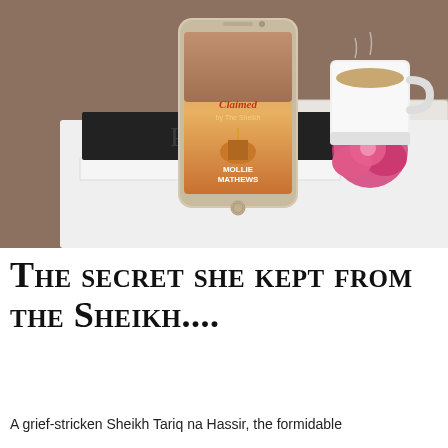[Figure (photo): A styled flat-lay photo showing a smartphone displaying a romance novel cover titled 'Claimed by the Sheikh' by Mollie Mathews, resting on a stack of black and white books. Beside it is a pink peony flower and a white ceramic mug of coffee, all arranged on a white marble tray on a wooden surface.]
The secret she kept from the Sheikh....
A grief-stricken Sheikh Tariq na Hassir, the formidable